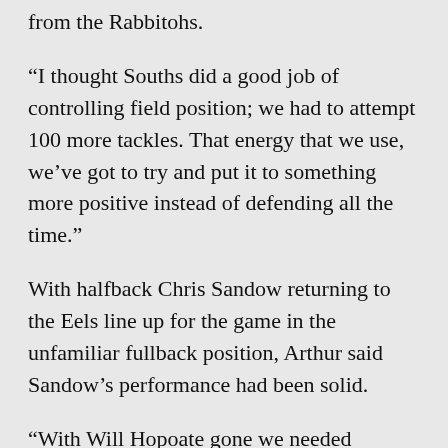from the Rabbitohs.
“I thought Souths did a good job of controlling field position; we had to attempt 100 more tackles. That energy that we use, we’ve got to try and put it to something more positive instead of defending all the time.”
With halfback Chris Sandow returning to the Eels line up for the game in the unfamiliar fullback position, Arthur said Sandow’s performance had been solid.
“With Will Hopoate gone we needed something different [so Sandow was added],” Arthur said.